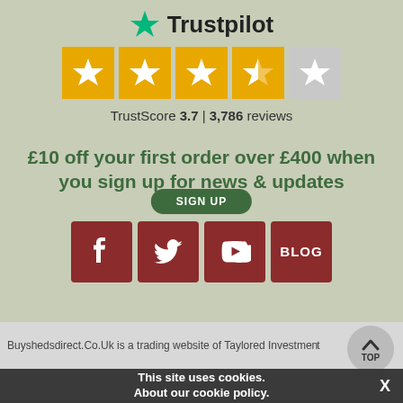[Figure (logo): Trustpilot logo with green star and bold Trustpilot text]
[Figure (infographic): Five star rating display: 4 gold stars and 1 gray star; TrustScore 3.7 | 3,786 reviews]
TrustScore 3.7 | 3,786 reviews
£10 off your first order over £400 when you sign up for news & updates
[Figure (infographic): Social media icons: Facebook, Twitter, YouTube (dark red squares), BLOG button, and a green SIGN UP pill button above them]
Buyshedsdirect.Co.Uk is a trading website of Taylored Investment
This site uses cookies. About our cookie policy.